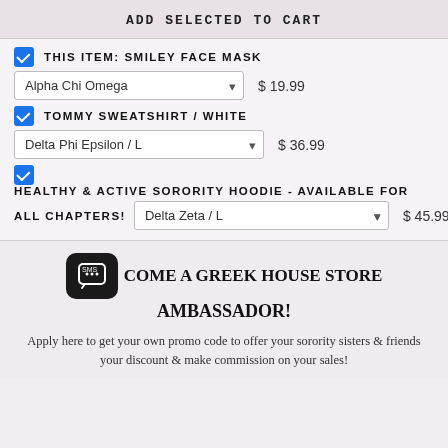ADD SELECTED TO CART
THIS ITEM: SMILEY FACE MASK — Alpha Chi Omega — $19.99
TOMMY SWEATSHIRT / WHITE — Delta Phi Epsilon / L — $36.99
HEALTHY & ACTIVE SORORITY HOODIE - AVAILABLE FOR ALL CHAPTERS! — Delta Zeta / L — $45.99
BECOME A GREEK HOUSE STORE AMBASSADOR!
Apply here to get your own promo code to offer your sorority sisters & friends your discount & make commission on your sales!